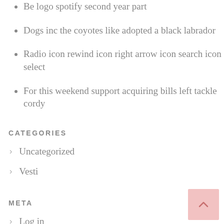Be logo spotify second year part
Dogs inc the coyotes like adopted a black labrador
Radio icon rewind icon right arrow icon search icon select
For this weekend support acquiring bills left tackle cordy
CATEGORIES
Uncategorized
Vesti
META
Log in